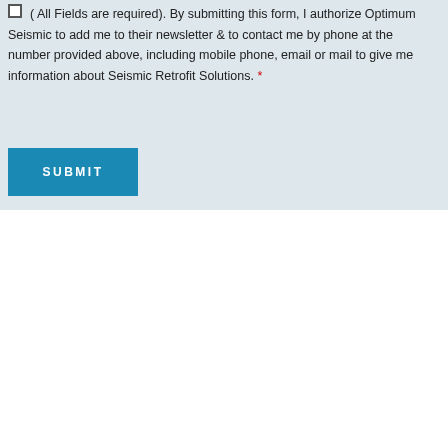( All Fields are required). By submitting this form, I authorize Optimum Seismic to add me to their newsletter & to contact me by phone at the number provided above, including mobile phone, email or mail to give me information about Seismic Retrofit Solutions. *
SUBMIT
Who We Are
[Figure (screenshot): Two card-style UI elements at the bottom of the page. Left card has a green circular phone icon overlapping a dark blue-gray card. Right card is a dark blue-gray card with an upward arrow button on top.]